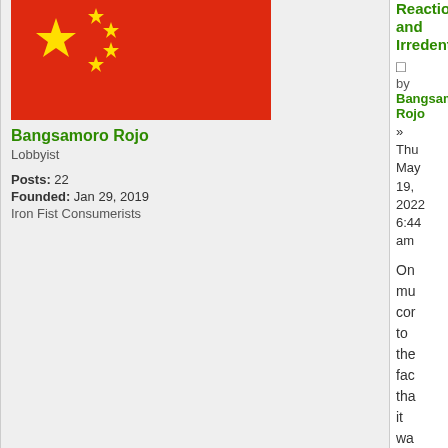[Figure (illustration): Chinese flag (red background with yellow stars)]
Bangsamoro Rojo
Lobbyist
Posts: 22
Founded: Jan 29, 2019
Iron Fist Consumerists
Reactio and Irredent
by Bangsamoro Rojo
» Thu May 19, 2022 6:44 am
On mu cor to the fac tha it wa the Ca Vis wh act